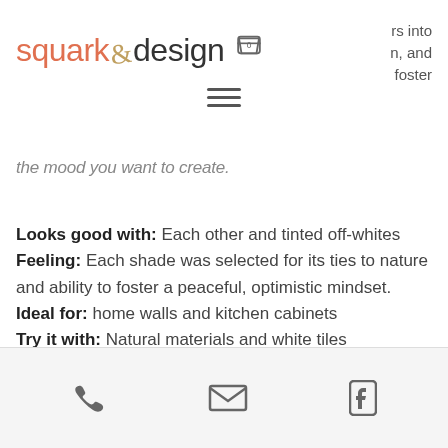squark & design | rs into n, and foster
the mood you want to create.
Looks good with: Each other and tinted off-whites
Feeling: Each shade was selected for its ties to nature and ability to foster a peaceful, optimistic mindset.
Ideal for: home walls and kitchen cabinets
Try it with: Natural materials and white tiles
Phone | Email | Facebook